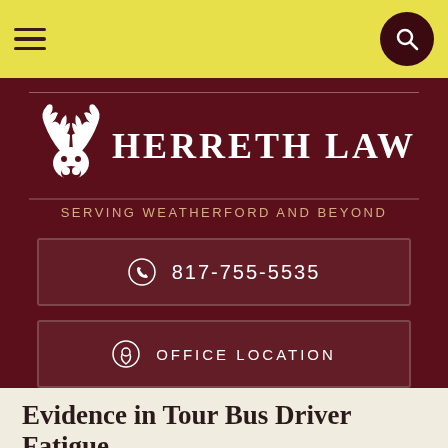[Figure (logo): Herreth Law logo with deer antlers icon and text, tagline 'Serving Weatherford and Beyond', phone number 817-755-5535, and Office Location button on dark maroon background]
Evidence in Tour Bus Driver Fatigue Claims